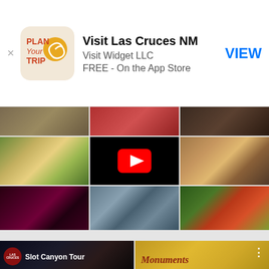[Figure (screenshot): App Store advertisement banner for 'Visit Las Cruces NM' app by Visit Widget LLC, free on the App Store, with a 'PLAN YOUR TRIP' sun logo icon and a VIEW button]
[Figure (photo): Grid of food, drink, and outdoor photos from Las Cruces NM including tacos, a YouTube video placeholder with play button, beer, wine, patio dining, and chili peppers]
[Figure (screenshot): Bottom strip showing two video thumbnails: 'Slot Canyon Tour' with Las Cruces logo on dark background, and 'Monuments' text on golden/yellow background with three-dots menu icon]